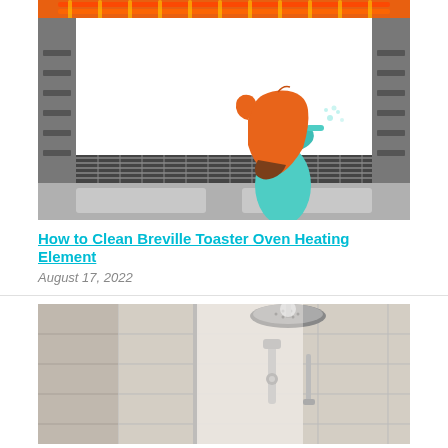[Figure (illustration): Photo of the inside of a toaster oven with metal racks, heating elements visible at top, and a cartoon/illustrated overlay of an orange-gloved hand holding a teal spray bottle, cleaning the interior.]
How to Clean Breville Toaster Oven Heating Element
August 17, 2022
[Figure (photo): Photo of a modern bathroom shower with a ceiling-mounted round rain showerhead, wall-mounted shower fixtures, glass door, and beige/grey tiled walls.]